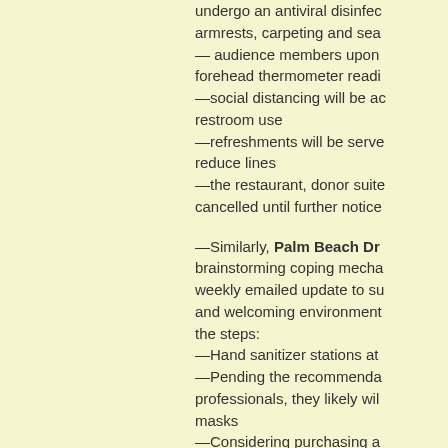undergo an antiviral disinfec armrests, carpeting and sea — audience members upon forehead thermometer readi —social distancing will be ac restroom use —refreshments will be serve reduce lines —the restaurant, donor suite cancelled until further notice
—Similarly, Palm Beach Dr brainstorming coping mecha weekly emailed update to su and welcoming environment the steps: —Hand sanitizer stations at —Pending the recommenda professionals, they likely wil masks —Considering purchasing a most effective disinfection m